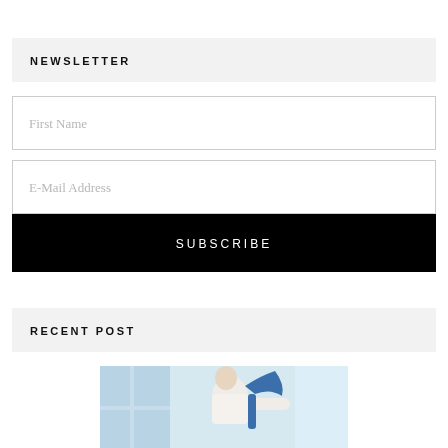NEWSLETTER
First Name
E-Mail Address
SUBSCRIBE
RECENT POST
[Figure (photo): A person in a white shirt and blue overalls or harness, photographed indoors near windows, possibly a worker or mover.]